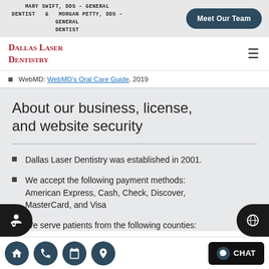MARY SWIFT, DDS – GENERAL DENTIST & MORGAN PETTY, DDS – GENERAL DENTIST
Meet Our Team
Dallas Laser Dentistry
WebMD: WebMD's Oral Care Guide. 2019
About our business, license, and website security
Dallas Laser Dentistry was established in 2001.
We accept the following payment methods: American Express, Cash, Check, Discover, MasterCard, and Visa
We serve patients from the following counties: